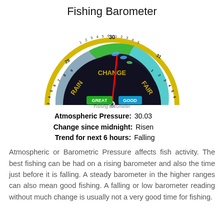Fishing Barometer
[Figure (infographic): A semicircular fishing barometer gauge with yellow outer ring showing pressure numbers (3 to 31 scale), inner colored zones: rain (left, gray-blue), change (center, green), fair (right, cyan/light blue). A red needle points near 30. Labels GREAT and GOOD displayed in green/blue boxes near bottom center. Fish icons in the green zone. Caption: Fishing Barometer.]
Atmospheric Pressure:   30.03
Change since midnight:  Risen
Trend for next 6 hours:  Falling
Atmospheric or Barometric Pressure affects fish activity. The best fishing can be had on a rising barometer and also the time just before it is falling. A steady barometer in the higher ranges can also mean good fishing. A falling or low barometer reading without much change is usually not a very good time for fishing.